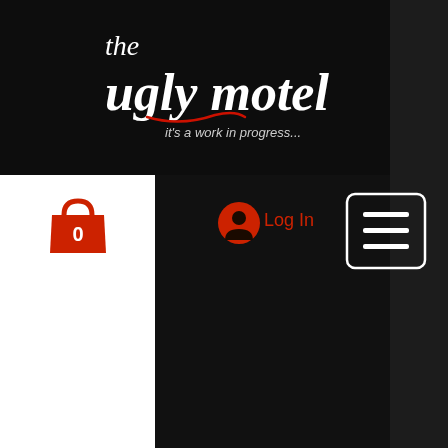[Figure (logo): The Ugly Motel logo - white italic text on black background with red underline accent and tagline 'it's a work in progress...']
[Figure (other): Red shopping bag icon with number 0]
[Figure (other): Red user/account icon circle]
Log In
[Figure (other): Hamburger menu button - three white horizontal lines in a white-bordered rounded rectangle]